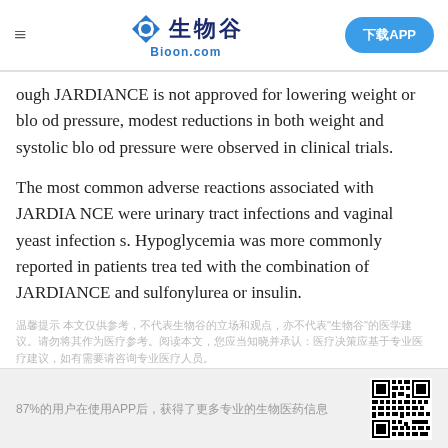≡   生物谷 Bioon.com   下载APP
ough JARDIANCE is not approved for lowering weight or blood pressure, modest reductions in both weight and systolic blood pressure were observed in clinical trials.
The most common adverse reactions associated with JARDIANCE were urinary tract infections and vaginal yeast infections. Hypoglycemia was more commonly reported in patients treated with the combination of JARDIANCE and sulfonylurea or insulin.
温馨提示 本文仅供参考，不代表生物谷的立场和观点，亦不代表生物谷的医学建议，请勿将其作为医疗参考。阅读本文，您应当知晓并承认：医疗决策应基于专业医疗建议，如有需要请咨询专业医疗人员。生物谷不对因本文引发的任何后果承担责任。
[Figure (other): Promotional banner with QR code and text about downloading APP]